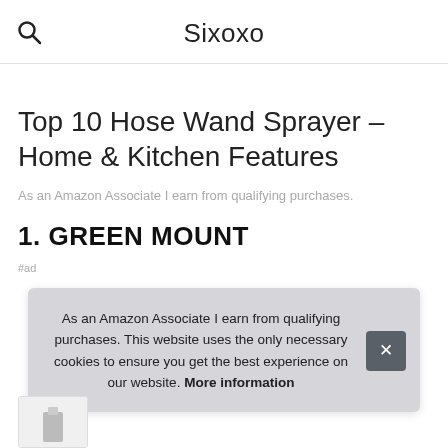Sixoxo
Top 10 Hose Wand Sprayer – Home & Kitchen Features
As an Amazon Associate I earn from qualifying purchases.
1. GREEN MOUNT
#ad
As an Amazon Associate I earn from qualifying purchases. This website uses the only necessary cookies to ensure you get the best experience on our website. More information